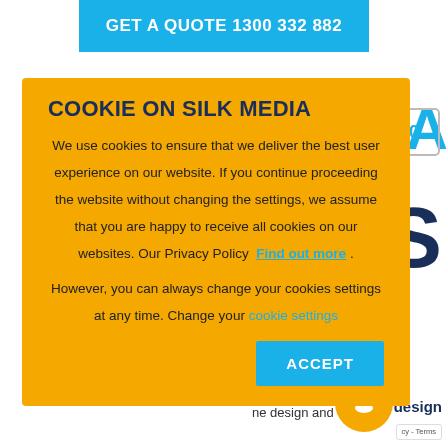GET A QUOTE 1300 332 882
COOKIE ON SILK MEDIA
We use cookies to ensure that we deliver the best user experience on our website. If you continue proceeding the website without changing the settings, we assume that you are happy to receive all cookies on our websites. Our Privacy Policy  Find out more .
However, you can always change your cookies settings at any time. Change your cookie settings
ACCEPT